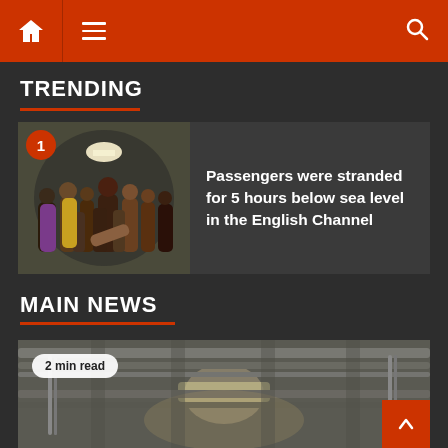Navigation bar with home, menu, and search icons
TRENDING
[Figure (photo): Crowd of passengers standing in a narrow tunnel corridor below sea level]
Passengers were stranded for 5 hours below sea level in the English Channel
MAIN NEWS
[Figure (photo): Interior of the Channel Tunnel showing pipes and cables along the ceiling, 2 min read badge visible]